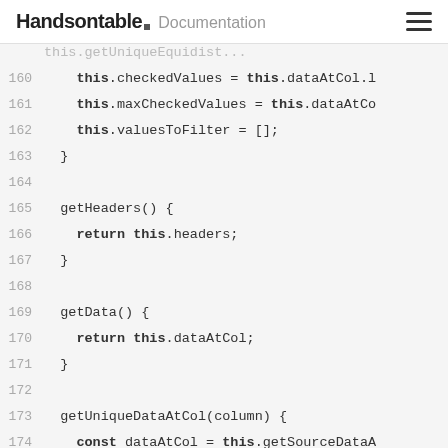Handsontable Documentation
[Figure (screenshot): Code editor showing JavaScript class methods with line numbers 159-175, featuring checkedValues, maxCheckedValues, valuesToFilter assignments, getHeaders(), getData(), and getUniqueDataAtCol(column) method definitions]